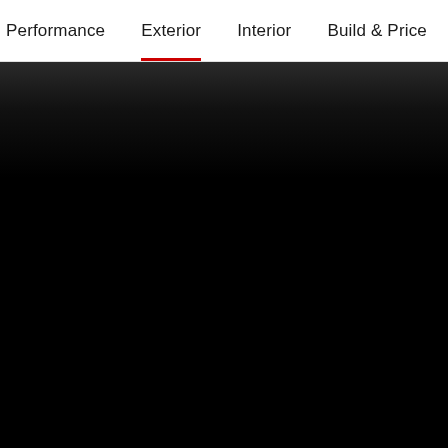Performance  Exterior  Interior  Build & Price  Disco
[Figure (photo): Dark automotive exterior photograph, mostly black with slight texture visible at top]